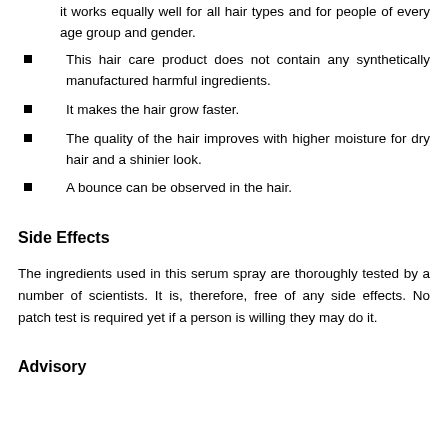it works equally well for all hair types and for people of every age group and gender.
This hair care product does not contain any synthetically manufactured harmful ingredients.
It makes the hair grow faster.
The quality of the hair improves with higher moisture for dry hair and a shinier look.
A bounce can be observed in the hair.
Side Effects
The ingredients used in this serum spray are thoroughly tested by a number of scientists. It is, therefore, free of any side effects. No patch test is required yet if a person is willing they may do it.
Advisory